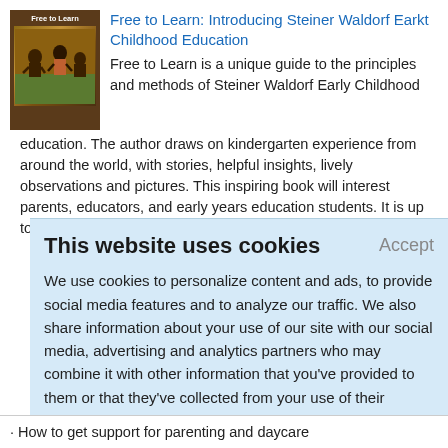[Figure (illustration): Book cover of 'Free to Learn' showing children, with dark brown background]
Free to Learn: Introducing Steiner Waldorf Earkt Childhood Education
Free to Learn is a unique guide to the principles and methods of Steiner Waldorf Early Childhood education. The author draws on kindergarten experience from around the world, with stories, helpful insights, lively observations and pictures. This inspiring book will interest parents, educators, and early years education students. It is up to date, comprehensive, and contains many illustrations,
This website uses cookies
Accept
We use cookies to personalize content and ads, to provide social media features and to analyze our traffic. We also share information about your use of our site with our social media, advertising and analytics partners who may combine it with other information that you've provided to them or that they've collected from your use of their services.
Learn More.
· How to get support for parenting and daycare